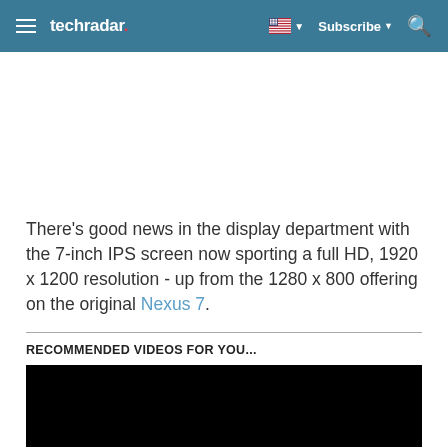techradar — Subscribe
There's good news in the display department with the 7-inch IPS screen now sporting a full HD, 1920 x 1200 resolution - up from the 1280 x 800 offering on the original Nexus 7.
RECOMMENDED VIDEOS FOR YOU...
[Figure (other): Black video player placeholder]